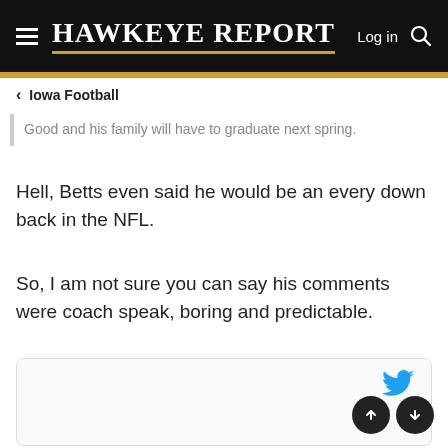Hawkeye Report — Log in
< Iowa Football
Good and his family will have to graduate next spring.
Hell, Betts even said he would be an every down back in the NFL.
So, I am not sure you can say his comments were coach speak, boring and predictable.
[Figure (screenshot): Embedded tweet card with Twitter bird icon and navigation up/down arrow buttons]